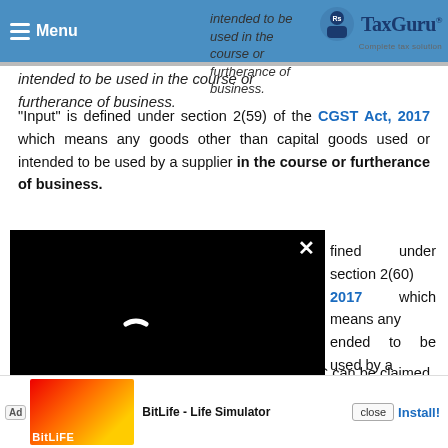Menu | TaxGuru - Complete Tax Solution
intended to be used in the course or furtherance of business.
“Input” is defined under section 2(59) of the CGST Act, 2017 which means any goods other than capital goods used or intended to be used by a supplier in the course or furtherance of business.
“Input Service” is defined under section 2(60) of the CGST Act, 2017 which means any service used or intended to be used by a supplier in the course or furtherance of
It is apparent from the above definitions that ITC can be claimed on input, input services and capital goods and it must be used in the course or furtherance of business.
[Figure (screenshot): Black video overlay with loading spinner and close button]
[Figure (screenshot): Advertisement banner for BitLife - Life Simulator app with close button and Install link]